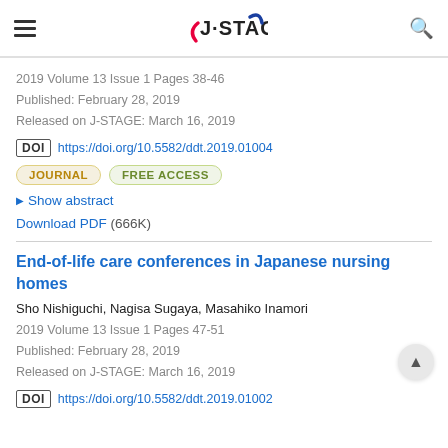J-STAGE
2019 Volume 13 Issue 1 Pages 38-46
Published: February 28, 2019
Released on J-STAGE: March 16, 2019
DOI https://doi.org/10.5582/ddt.2019.01004
JOURNAL FREE ACCESS
Show abstract
Download PDF (666K)
End-of-life care conferences in Japanese nursing homes
Sho Nishiguchi, Nagisa Sugaya, Masahiko Inamori
2019 Volume 13 Issue 1 Pages 47-51
Published: February 28, 2019
Released on J-STAGE: March 16, 2019
DOI https://doi.org/10.5582/ddt.2019.01002